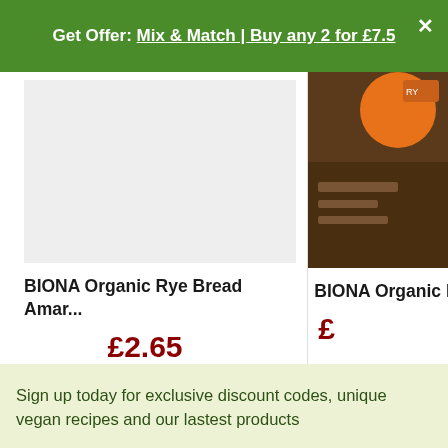Get Offer: Mix & Match | Buy any 2 for £7.5
[Figure (photo): Product image placeholder (light gray rectangle) for BIONA Organic Rye Bread Amaranth product]
[Figure (photo): Partial product image for BIONA Organic Rye Bread product, brown packaging visible on right side]
BIONA Organic Rye Bread Amar...
£2.65
BIONA Organic R
£
Sign up today for exclusive discount codes, unique vegan recipes and our lastest products
Enter your email address